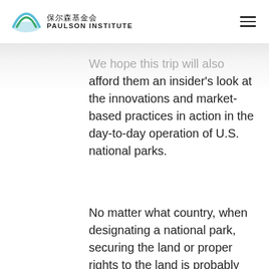保尔森基金会 PAULSON INSTITUTE
We hope this trip will also afford them an insider's look at the innovations and market-based practices in action in the day-to-day operation of U.S. national parks.
No matter what country, when designating a national park, securing the land or proper rights to the land is probably the single most important